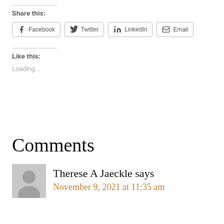Share this:
Facebook  Twitter  LinkedIn  Email
Like this:
Loading...
Comments
Therese A Jaeckle says
November 9, 2021 at 11:35 am